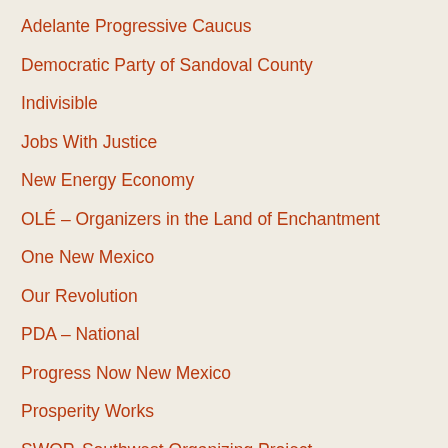Adelante Progressive Caucus
Democratic Party of Sandoval County
Indivisible
Jobs With Justice
New Energy Economy
OLÉ – Organizers in the Land of Enchantment
One New Mexico
Our Revolution
PDA – National
Progress Now New Mexico
Prosperity Works
SWOP, Southwest Organizing Project
The Red Nation
West Side Democrats of Bernalillo County
Working Families Party